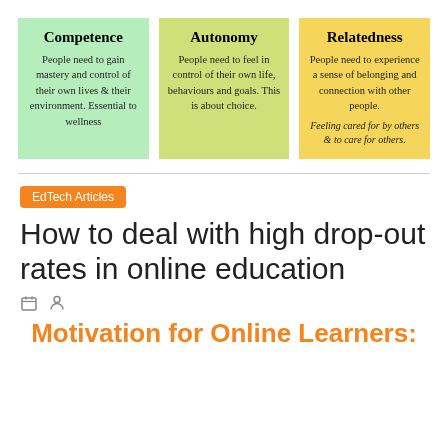[Figure (infographic): Three colored cards side by side showing psychological needs: Competence (green), Autonomy (yellow-green), Relatedness (yellow)]
EdTech Articles
How to deal with high drop-out rates in online education
Motivation for Online Learners: